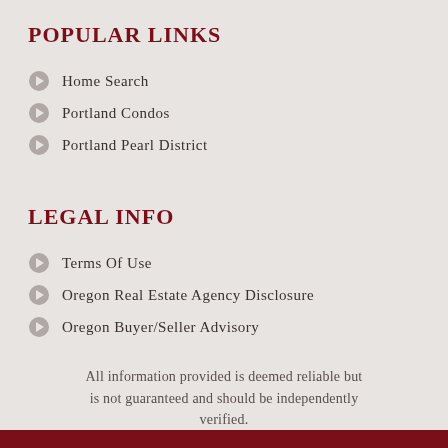POPULAR LINKS
Home Search
Portland Condos
Portland Pearl District
LEGAL INFO
Terms Of Use
Oregon Real Estate Agency Disclosure
Oregon Buyer/Seller Advisory
All information provided is deemed reliable but is not guaranteed and should be independently verified.
Equal Housing Opportunity.